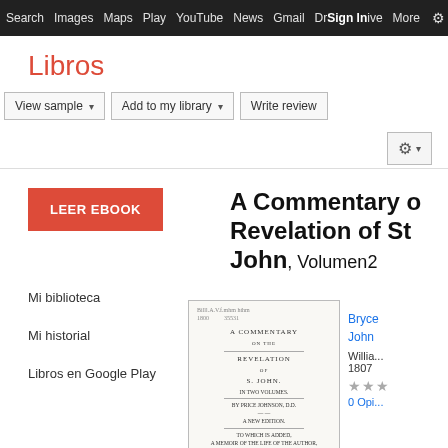Search  Images  Maps  Play  YouTube  News  Gmail  Drive  More  Sign in  ⚙
Libros
View sample  ▾   Add to my library  ▾   Write review   ⚙ ▾
LEER EBOOK
A Commentary on the Revelation of St. John, Volumen 2
Mi biblioteca
Mi historial
Libros en Google Play
[Figure (photo): Book cover of 'A Commentary on the Revelation of S. John in Two Volumes' by Price Johnson, D.D., new edition, 1807, Vol. II, published in Edinburgh by William Creech]
Bryce John
Willia...
1807
★★★
0 Opi...